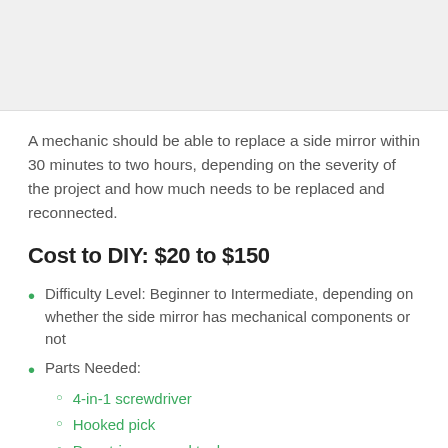[Figure (photo): Image area at top of page (gray placeholder)]
A mechanic should be able to replace a side mirror within 30 minutes to two hours, depending on the severity of the project and how much needs to be replaced and reconnected.
Cost to DIY: $20 to $150
Difficulty Level: Beginner to Intermediate, depending on whether the side mirror has mechanical components or not
Parts Needed:
4-in-1 screwdriver
Hooked pick
Door trim removal tool
Door upholstery remover lever